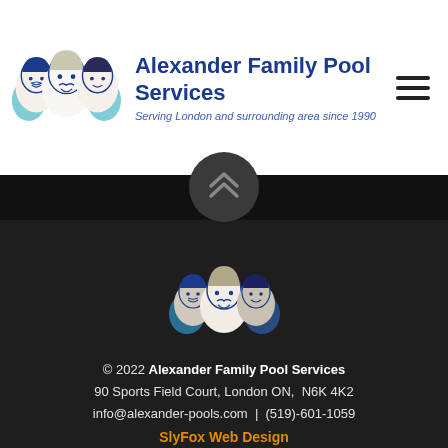[Figure (logo): Alexander Family Pool Services logo with three illustrated male faces in blue line art style]
Alexander Family Pool Services
Serving London and surrounding area since 1990
[Figure (illustration): Hamburger menu icon with three horizontal lines]
[Figure (illustration): Dark footer section with upward chevron arrow button]
[Figure (logo): Alexander Family Pool Services footer logo with three illustrated faces in blue]
© 2022 Alexander Family Pool Services
90 Sports Field Court, London ON,  N6K 4K2
info@alexander-pools.com  |  (519)-601-1059
SlyFox Web Design